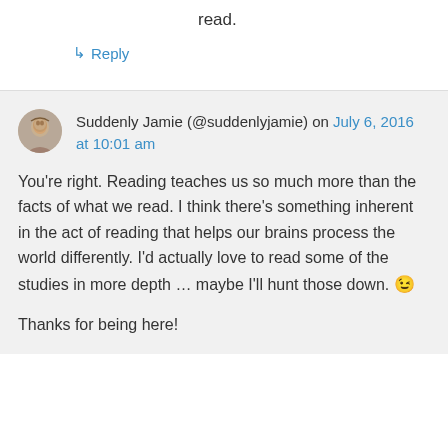read.
↳ Reply
Suddenly Jamie (@suddenlyjamie) on July 6, 2016 at 10:01 am
You're right. Reading teaches us so much more than the facts of what we read. I think there's something inherent in the act of reading that helps our brains process the world differently. I'd actually love to read some of the studies in more depth … maybe I'll hunt those down. 😉
Thanks for being here!